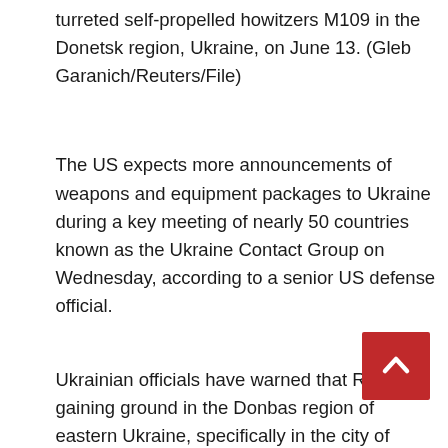turreted self-propelled howitzers M109 in the Donetsk region, Ukraine, on June 13. (Gleb Garanich/Reuters/File)
The US expects more announcements of weapons and equipment packages to Ukraine during a key meeting of nearly 50 countries known as the Ukraine Contact Group on Wednesday, according to a senior US defense official.
Ukrainian officials have warned that Russia is gaining ground in the Donbas region of eastern Ukraine, specifically in the city of Severodonestk, which has seen some of the heaviest fighting recently. Without an influx of more weapons, some Ukrainian officials have said it will be increasingly difficult to halt...